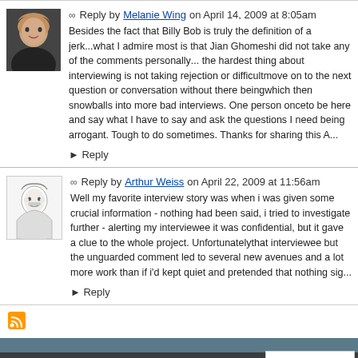Reply by Melanie Wing on April 14, 2009 at 8:05am
Besides the fact that Billy Bob is truly the definition of a jerk...what I admire most is that Jian Ghomeshi did not take any of the comments personally... the hardest thing about interviewing is not taking rejection or difficult answers personally, move on to the next question or conversation without there being an air of resentment, which then snowballs into more bad interviews. One person once told me I was arrogant to be here and say what I have to say and ask the questions I need to ask without being arrogant. Tough to do sometimes. Thanks for sharing this A...
► Reply
Reply by Arthur Weiss on April 22, 2009 at 11:56am
Well my favorite interview story was when i was given some crucial information - nothing had been said, i tried to investigate further - alerting my interviewee it was confidential, but it gave a clue to the whole project. Unfortunately i never followed up that interviewee but the unguarded comment led to several new avenues and a lot more work than if i'd kept quiet and pretended that nothing sig...
► Reply
© 2022  Created by Arik Johnson.  Powered by  NING
Sign in to chat!